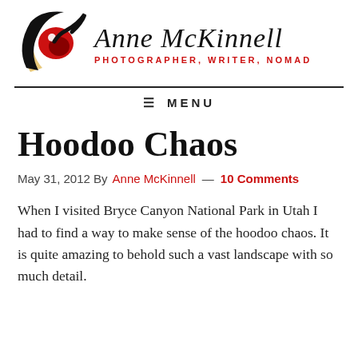[Figure (logo): Anne McKinnell photographer logo: stylized eye with black and red/gold swirls, alongside the name 'Anne McKinnell' in italic serif and tagline 'PHOTOGRAPHER, WRITER, NOMAD' in red caps]
≡  MENU
Hoodoo Chaos
May 31, 2012 By Anne McKinnell — 10 Comments
When I visited Bryce Canyon National Park in Utah I had to find a way to make sense of the hoodoo chaos. It is quite amazing to behold such a vast landscape with so much detail.